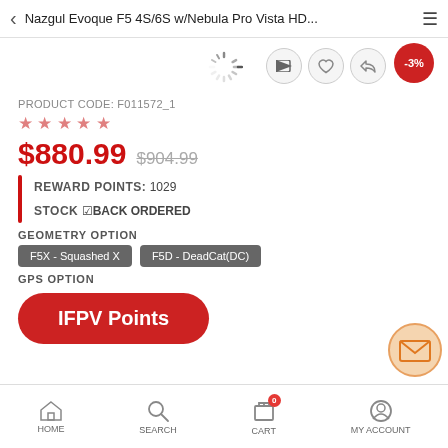Nazgul Evoque F5 4S/6S w/Nebula Pro Vista HD...
PRODUCT CODE: F011572_1
$880.99  $904.99
REWARD POINTS: 1029
STOCK ☑BACK ORDERED
GEOMETRY OPTION
F5X - Squashed X
F5D - DeadCat(DC)
GPS OPTION
IFPV Points
HOME  SEARCH  CART  MY ACCOUNT